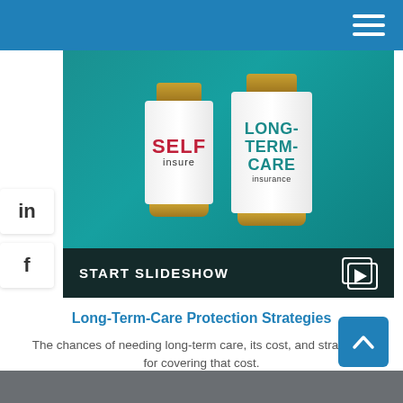[Figure (photo): Two pill/medicine bottles on a teal background — one labeled 'SELF insure' in red and one labeled 'LONG-TERM-CARE insurance' in teal, with a 'START SLIDESHOW' overlay bar at the bottom.]
Long-Term-Care Protection Strategies
The chances of needing long-term care, its cost, and strategies for covering that cost.